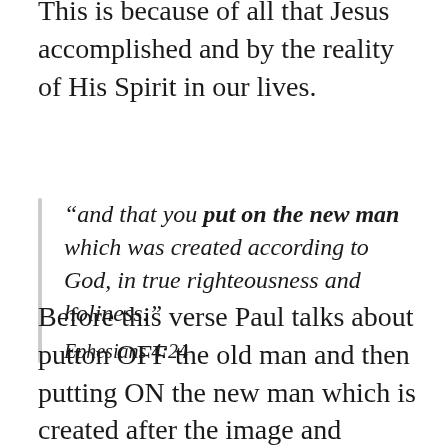This is because of all that Jesus accomplished and by the reality of His Spirit in our lives.
“and that you put on the new man which was created according to God, in true righteousness and holiness.” Ephesians 4:24
Before this verse Paul talks about putton OFF the old man and then putting ON the new man which is created after the image and likeness of God. When we look at the word “man”